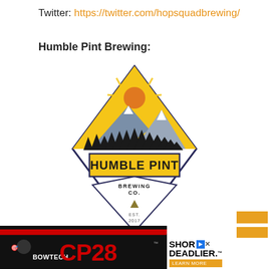Twitter: https://twitter.com/hopsquadbrewing/
Humble Pint Brewing:
[Figure (logo): Humble Pint Brewing Co. logo — diamond shape with mountain scene, sun, pine trees, yellow banner reading HUMBLE PINT, established 2017]
[Figure (photo): Advertisement banner: Bowtech CP28 bow — red CP28 logo on black background, with text SHOR... DEADLIER. and LEARN MORE button]